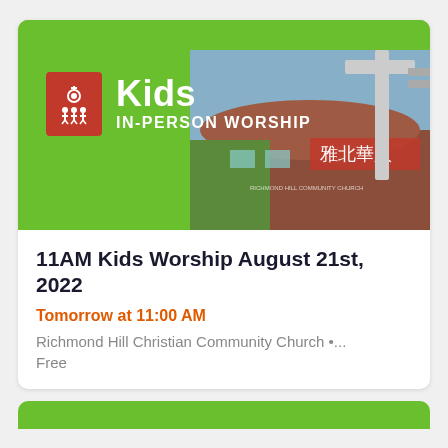[Figure (photo): Event banner with green background showing a church building with a large cross and Chinese characters. Red icon with church logo on left, white text reading 'Kids IN-PERSON WORSHIP'.]
11AM Kids Worship August 21st, 2022
Tomorrow at 11:00 AM
Richmond Hill Christian Community Church •...
Free
[Figure (photo): Bottom green banner strip, partial view of another event card.]